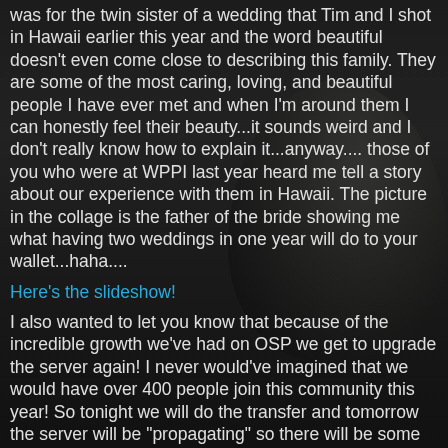was for the twin sister of a wedding that Tim and I shot in Hawaii earlier this year and the word beautiful doesn't even come close to describing this family. They are some of the most caring, loving, and beautiful people I have ever met and when I'm around them I can honestly feel their beauty...it sounds weird and I don't really know how to explain it...anyway.... those of you who were at WPPI last year heard me tell a story about our experience with them in Hawaii. The picture in the collage is the father of the bride showing me what having two weddings in one year will do to your wallet...haha....
Here's the slideshow!
I also wanted to let you know that because of the incredible growth we've had on OSP we get to upgrade the server again! I never would've imagined that we would have over 400 people join this community this year! So tonight we will do the transfer and tomorrow the server will be "propagating" so there will be some down time and that will be a good time for all of us to sit down and do some planning and goal setting! :)